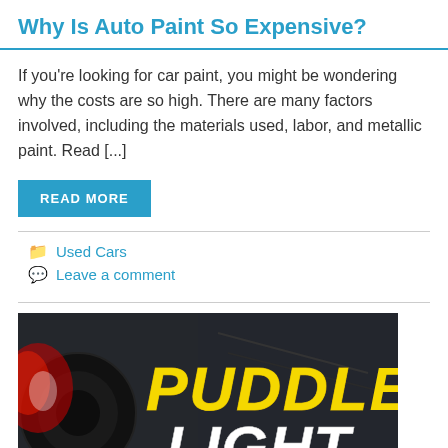Why Is Auto Paint So Expensive?
If you're looking for car paint, you might be wondering why the costs are so high. There are many factors involved, including the materials used, labor, and metallic paint. Read [...]
READ MORE
Used Cars
Leave a comment
[Figure (photo): Dark automotive image with 'PUDDLE LIGHT' text in yellow and white bold italic lettering, red lighting visible on left side]